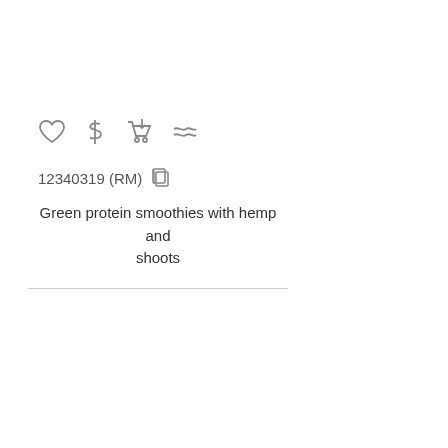[Figure (other): Row of icons: heart (favorite), dollar sign, shopping cart with download arrow, and approximately-equal sign]
12340319 (RM)
Green protein smoothies with hemp and shoots